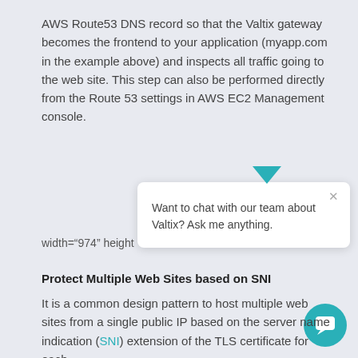AWS Route53 DNS record so that the Valtix gateway becomes the frontend to your application (myapp.com in the example above) and inspects all traffic going to the web site. This step can also be performed directly from the Route 53 settings in AWS EC2 Management console.
width="974" height
[Figure (other): Chat popup widget with teal downward triangle pointer, close (x) button, and text 'Want to chat with our team about Valtix? Ask me anything.' and a teal circular chat icon at the bottom right]
Protect Multiple Web Sites based on SNI
It is a common design pattern to host multiple web sites from a single public IP based on the server name indication (SNI) extension of the TLS certificate for each